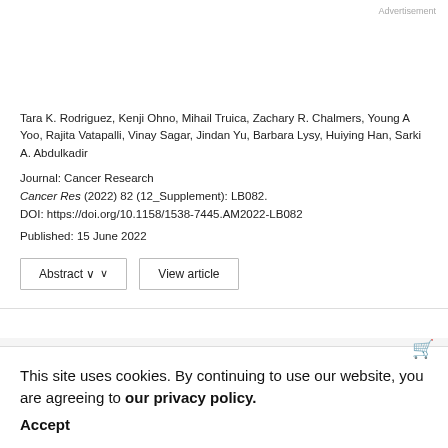Advertisement
Tara K. Rodriguez, Kenji Ohno, Mihail Truica, Zachary R. Chalmers, Young A Yoo, Rajita Vatapalli, Vinay Sagar, Jindan Yu, Barbara Lysy, Huiying Han, Sarki A. Abdulkadir
Journal: Cancer Research
Cancer Res (2022) 82 (12_Supplement): LB082.
DOI: https://doi.org/10.1158/1538-7445.AM2022-LB082
Published: 15 June 2022
Abstract ∨   View article
This site uses cookies. By continuing to use our website, you are agreeing to our privacy policy. Accept
A Genome-Wide CRISPR Activation Screen Identifies PRRX2 as a Regulator of Enzalutamide Resistance in Prostate...